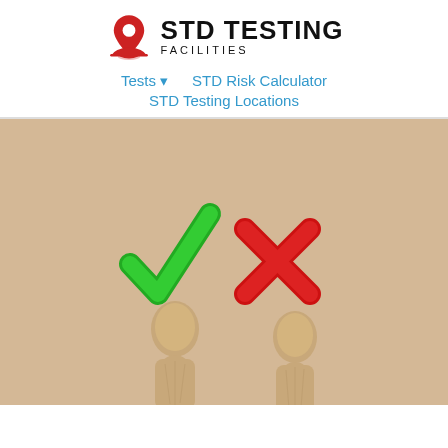[Figure (logo): STD Testing Facilities logo with red map pin icon and bold text STD TESTING with FACILITIES subtitle]
Tests ▼   STD Risk Calculator   STD Testing Locations
[Figure (photo): Two wooden figure people on a beige/tan background. Above the left figure is a large green checkmark, above the right figure is a large red X mark.]